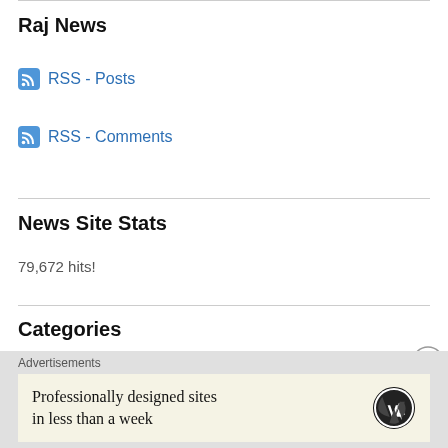Raj News
RSS - Posts
RSS - Comments
News Site Stats
79,672 hits!
Categories
August Riots 2011: London Riots
Advertisements
Professionally designed sites in less than a week